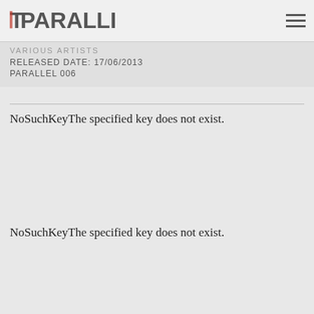PARALLEL | VARIOUS ARTISTS
RELEASED DATE: 17/06/2013
PARALLEL 006
NoSuchKeyThe specified key does not exist.
NoSuchKeyThe specified key does not exist.